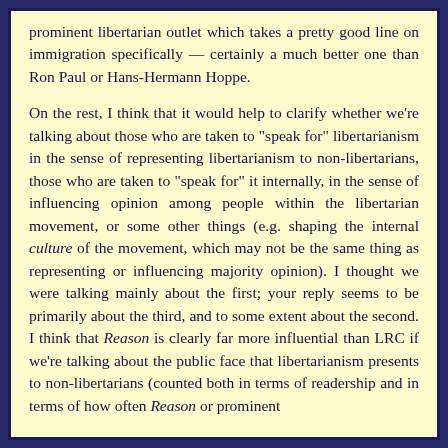prominent libertarian outlet which takes a pretty good line on immigration specifically — certainly a much better one than Ron Paul or Hans-Hermann Hoppe.
On the rest, I think that it would help to clarify whether we're talking about those who are taken to "speak for" libertarianism in the sense of representing libertarianism to non-libertarians, those who are taken to "speak for" it internally, in the sense of influencing opinion among people within the libertarian movement, or some other things (e.g. shaping the internal culture of the movement, which may not be the same thing as representing or influencing majority opinion). I thought we were talking mainly about the first; your reply seems to be primarily about the third, and to some extent about the second. I think that Reason is clearly far more influential than LRC if we're talking about the public face that libertarianism presents to non-libertarians (counted both in terms of readership and in terms of how often Reason or prominent